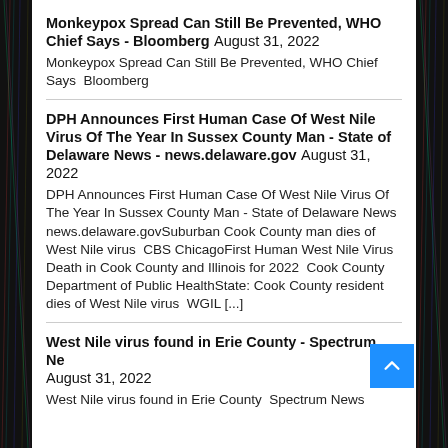Monkeypox Spread Can Still Be Prevented, WHO Chief Says - Bloomberg August 31, 2022
Monkeypox Spread Can Still Be Prevented, WHO Chief Says  Bloomberg
DPH Announces First Human Case Of West Nile Virus Of The Year In Sussex County Man - State of Delaware News - news.delaware.gov August 31, 2022
DPH Announces First Human Case Of West Nile Virus Of The Year In Sussex County Man - State of Delaware News  news.delaware.govSuburban Cook County man dies of West Nile virus  CBS ChicagoFirst Human West Nile Virus Death in Cook County and Illinois for 2022  Cook County Department of Public HealthState: Cook County resident dies of West Nile virus  WGIL [...]
West Nile virus found in Erie County - Spectrum News August 31, 2022
West Nile virus found in Erie County  Spectrum News